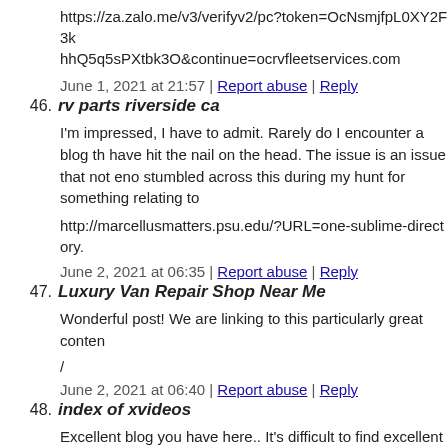https://za.zalo.me/v3/verifyv2/pc?token=OcNsmjfpL0XY2F3k hhQ5q5sPXtbk3O&continue=ocrvfleetservices.com
June 1, 2021 at 21:57 | Report abuse | Reply
46. rv parts riverside ca
I'm impressed, I have to admit. Rarely do I encounter a blog th have hit the nail on the head. The issue is an issue that not eno stumbled across this during my hunt for something relating to
http://marcellusmatters.psu.edu/?URL=one-sublime-directory.
June 2, 2021 at 06:35 | Report abuse | Reply
47. Luxury Van Repair Shop Near Me
Wonderful post! We are linking to this particularly great conten
/
June 2, 2021 at 06:40 | Report abuse | Reply
48. index of xvideos
Excellent blog you have here.. It's difficult to find excellent wr you! Take care!!
& Report abuse | Reply